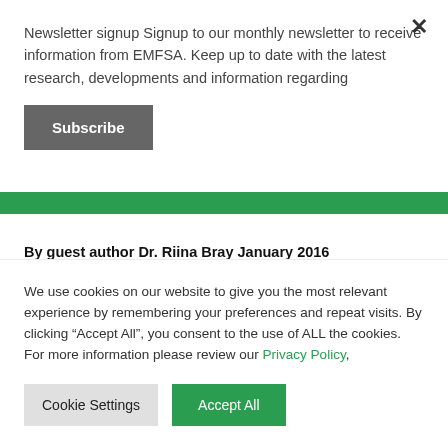Newsletter signup Signup to our monthly newsletter to receive information from EMFSA. Keep up to date with the latest research, developments and information regarding
Subscribe
[Figure (other): Green decorative banner image]
By guest author Dr. Riina Bray January 2016
About the author
We use cookies on our website to give you the most relevant experience by remembering your preferences and repeat visits. By clicking “Accept All”, you consent to the use of ALL the cookies. For more information please review our Privacy Policy,
Cookie Settings
Accept All